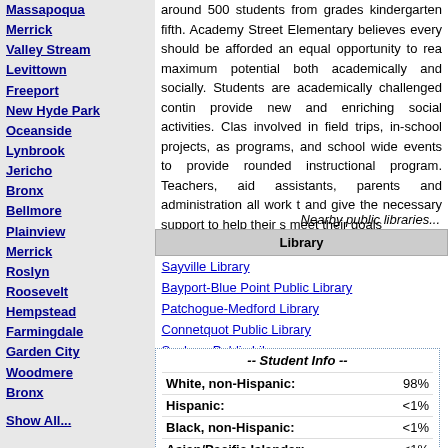Merrick
Valley Stream
Levittown
Freeport
New Hyde Park
Oceanside
Lynbrook
Jericho
Bronx
Bellmore
Plainview
Merrick
Roslyn
Roosevelt
Hempstead
Farmingdale
Garden City
Woodmere
Bronx
Show All...
around 500 students from grades kindergarten fifth. Academy Street Elementary believes every should be afforded an equal opportunity to rea maximum potential both academically and socially Students are academically challenged contin provide new and enriching social activities. Clas involved in field trips, in-school projects, as programs, and school wide events to provide rounded instructional program. Teachers, aid assistants, parents and administration all work t and give the necessary support to help their s meet their goals
Nearby public libraries...
| Library |
| --- |
| Sayville Library |
| Bayport-Blue Point Public Library |
| Patchogue-Medford Library |
| Connetquot Public Library |
| Sachem Public Library |
-- Student Info --
| White, non-Hispanic: | 98% |
| Hispanic: | <1% |
| Black, non-Hispanic: | <1% |
| Asian/Pacific Islander: | <1% |